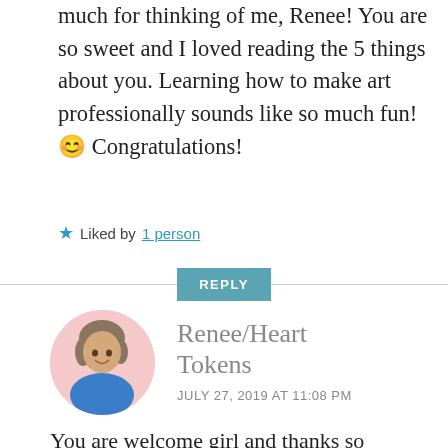much for thinking of me, Renee! You are so sweet and I loved reading the 5 things about you. Learning how to make art professionally sounds like so much fun! 😊 Congratulations!
★ Liked by 1 person
REPLY
[Figure (photo): Round avatar photo of Renee/Heart Tokens, a woman with curly hair outdoors]
Renee/Heart Tokens
JULY 27, 2019 AT 11:08 PM
You are welcome girl and thanks so